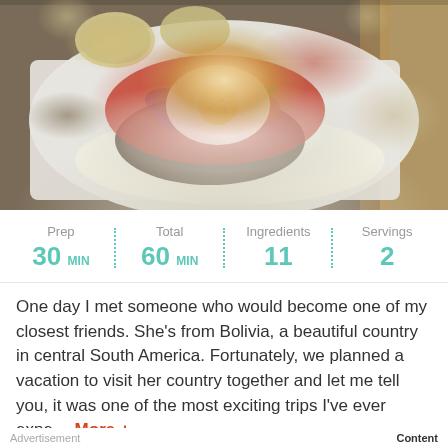[Figure (photo): A plate of food featuring rice, a meat patty, fresh salsa with tomatoes and red onion, and a fried egg on top, served on a white rectangular plate on a woven surface.]
Prep 30 MIN | Total 60 MIN | Ingredients 11 | Servings 2
One day I met someone who would become one of my closest friends. She's from Bolivia, a beautiful country in central South America. Fortunately, we planned a vacation to visit her country together and let me tell you, it was one of the most exciting trips I've ever expe… More +
Advertisement  Content